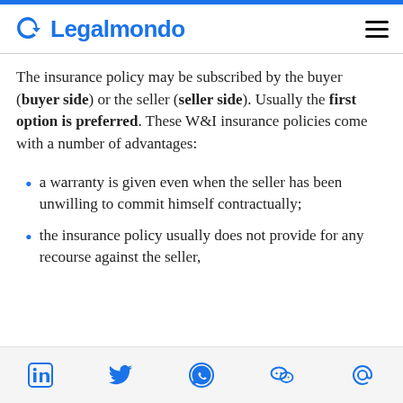Legalmondo
The insurance policy may be subscribed by the buyer (buyer side) or the seller (seller side). Usually the first option is preferred. These W&I insurance policies come with a number of advantages:
a warranty is given even when the seller has been unwilling to commit himself contractually;
the insurance policy usually does not provide for any recourse against the seller,
LinkedIn, Twitter, WhatsApp, WeChat, Email social share icons